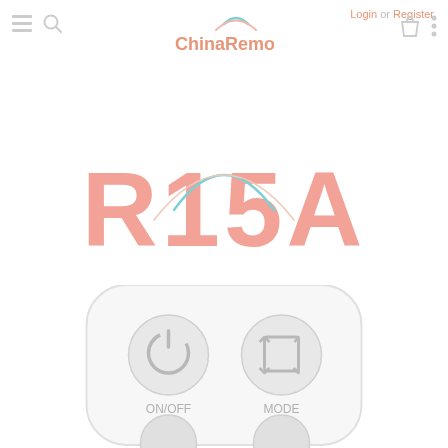Login or Register
[Figure (logo): ChinaRemotes logo with wifi/signal arc icon above the text, salmon/orange color]
[Figure (illustration): Navigation icons: hamburger menu and search icon on left; shopping bag icon and vertical dots menu on right]
R15A
[Figure (photo): Bottom portion of a white air conditioner remote control showing ON/OFF power button and MODE button with icons, rounded rectangle shape with light gray border]